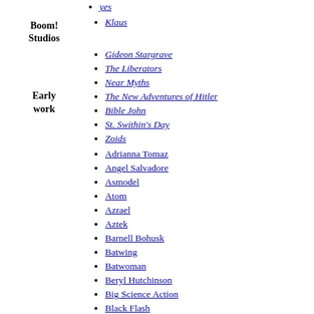yes (partial, top cut off)
Klaus
Gideon Stargrave
The Liberators
Near Myths
The New Adventures of Hitler
Bible John
St. Swithin's Day
Zoids
Adrianna Tomaz
Angel Salvadore
Asmodel
Atom
Azrael
Aztek
Barnell Bohusk
Batwing
Batwoman
Beryl Hutchinson
Big Science Action
Black Flash
Bulleteer
Cassandra Nova